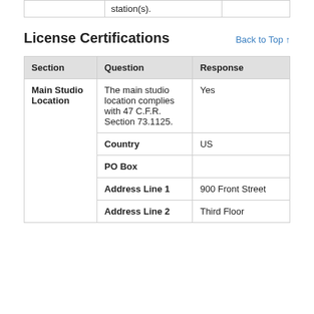|  | station(s). |  |
License Certifications
Back to Top ↑
| Section | Question | Response |
| --- | --- | --- |
| Main Studio Location | The main studio location complies with 47 C.F.R. Section 73.1125. | Yes |
|  | Country | US |
|  | PO Box |  |
|  | Address Line 1 | 900 Front Street |
|  | Address Line 2 | Third Floor |